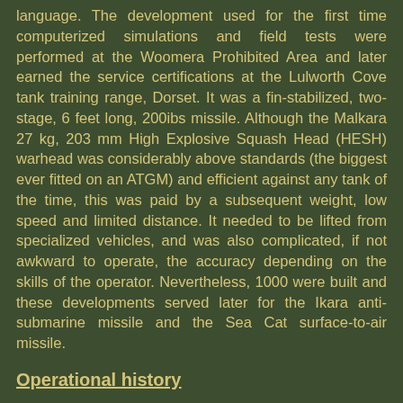language. The development used for the first time computerized simulations and field tests were performed at the Woomera Prohibited Area and later earned the service certifications at the Lulworth Cove tank training range, Dorset. It was a fin-stabilized, two-stage, 6 feet long, 200ibs missile. Although the Malkara 27 kg, 203 mm High Explosive Squash Head (HESH) warhead was considerably above standards (the biggest ever fitted on an ATGM) and efficient against any tank of the time, this was paid by a subsequent weight, low speed and limited distance. It needed to be lifted from specialized vehicles, and was also complicated, if not awkward to operate, the accuracy depending on the skills of the operator. Nevertheless, 1000 were built and these developments served later for the Ikara anti-submarine missile and the Sea Cat surface-to-air missile.
Operational history